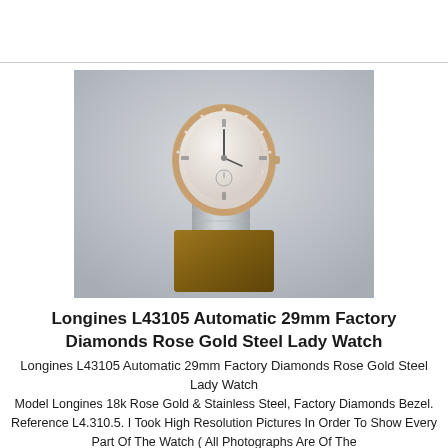[Figure (photo): A Longines lady's watch with rose gold diamond bezel and stainless steel bracelet, displayed on a wooden stand against a light gray background.]
Longines L43105 Automatic 29mm Factory Diamonds Rose Gold Steel Lady Watch
Longines L43105 Automatic 29mm Factory Diamonds Rose Gold Steel Lady Watch
Model Longines 18k Rose Gold & Stainless Steel, Factory Diamonds Bezel. Reference L4.310.5. I Took High Resolution Pictures In Order To Show Every Part Of The Watch ( All Photographs Are Of The